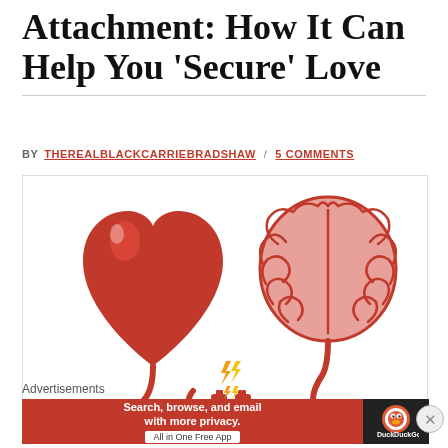Attachment: How It Can Help You 'Secure' Love
BY THEREALBLACKCARRIEBRADSHAW / 5 COMMENTS
[Figure (illustration): Illustration of a red heart and a pink brain connected by a red cable with an electrical plug connector in the middle, with yellow lightning bolts showing connection/energy between them.]
Advertisements
[Figure (other): DuckDuckGo advertisement banner: 'Search, browse, and email with more privacy. All in One Free App' with DuckDuckGo logo on dark background.]